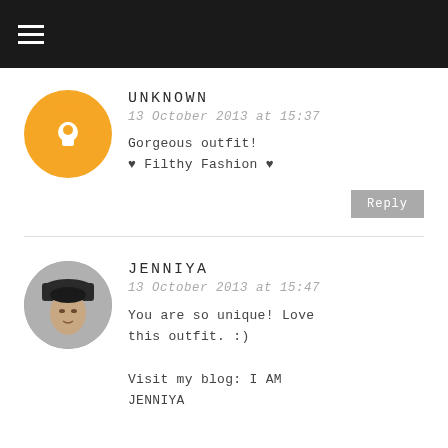☰ (navigation menu)
[Figure (photo): Blogger default orange circle avatar with white B logo]
UNKNOWN
13 October 2013 at 15:37
Gorgeous outfit!
♥ Filthy Fashion ♥
Reply
[Figure (photo): Profile photo of Jenniya, young woman in dark hat]
JENNIYA
13 October 2013 at 15:47
You are so unique! Love this outfit. :)

Visit my blog: I AM JENNIYA